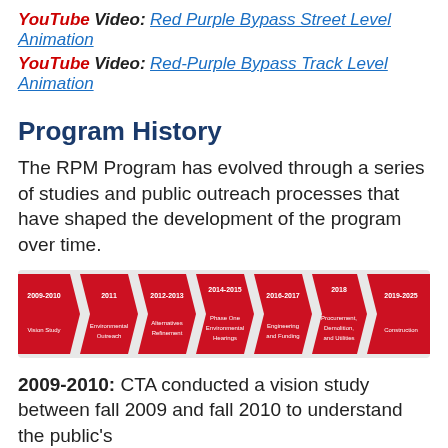YouTube Video: Red Purple Bypass Street Level Animation
YouTube Video: Red-Purple Bypass Track Level Animation
Program History
The RPM Program has evolved through a series of studies and public outreach processes that have shaped the development of the program over time.
[Figure (infographic): Timeline infographic showing RPM Program phases: 2009-2010 Vision Study, 2011 Environmental Outreach, 2012-2013 Alternatives Refinement, 2014-2015 Phase One Environmental Hearings, 2016-2017 Engineering and Funding, 2018 Procurement Demolition and Utilities, 2019-2025 Construction. Red chevron/arrow shapes on light gray background.]
2009-2010: CTA conducted a vision study between fall 2009 and fall 2010 to understand the public's